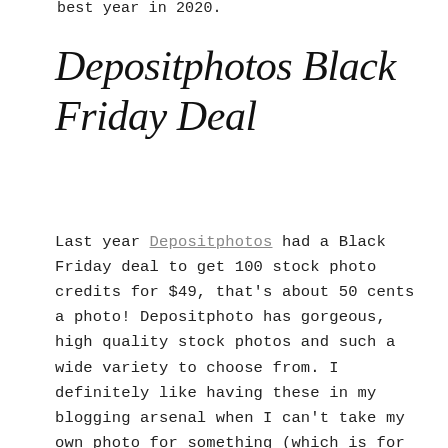best year in 2020.
Depositphotos Black Friday Deal
Last year Depositphotos had a Black Friday deal to get 100 stock photo credits for $49, that's about 50 cents a photo! Depositphoto has gorgeous, high quality stock photos and such a wide variety to choose from. I definitely like having these in my blogging arsenal when I can't take my own photo for something (which is for just about everything except my planner posts).